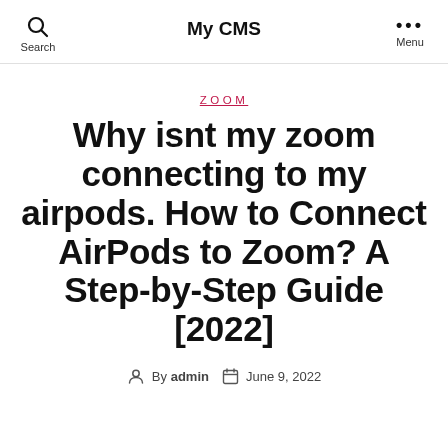My CMS
ZOOM
Why isnt my zoom connecting to my airpods. How to Connect AirPods to Zoom? A Step-by-Step Guide [2022]
By admin   June 9, 2022